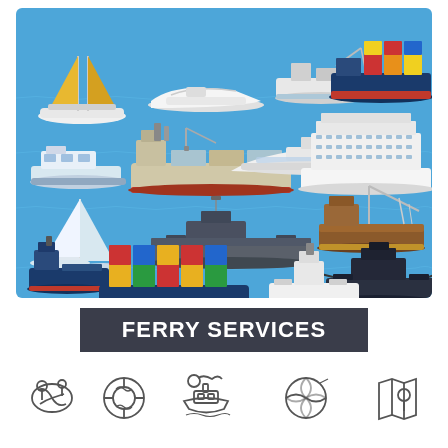[Figure (illustration): Flat design illustration of various types of ships and boats on a blue ocean background: sailboat with yellow sails, motorboat/yacht, fishing trawler, cargo ship, passenger ferry, small cruiser/cabin boat, large container cargo ship, large white luxury yacht, cruise ship, white sailboat/catamaran, military patrol vessel/warship, fishing boat with net crane, small cargo vessel, container ship with colorful containers, white cargo/tanker ship, dark grey military warship/aircraft carrier.]
FERRY SERVICES
[Figure (illustration): Row of five outline/line-art icons related to ferry services: location pin map icon, life preserver ring icon, boat/ferry icon, world globe icon, folded map with location pin icon.]